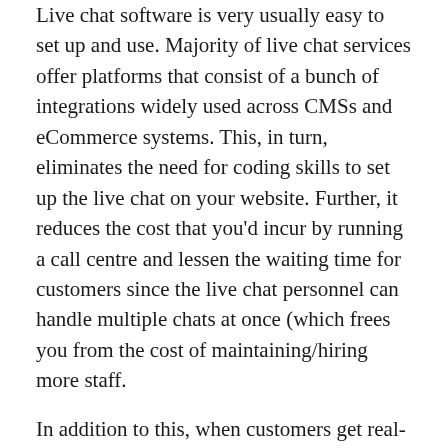Live chat software is very usually easy to set up and use. Majority of live chat services offer platforms that consist of a bunch of integrations widely used across CMSs and eCommerce systems. This, in turn, eliminates the need for coding skills to set up the live chat on your website. Further, it reduces the cost that you'd incur by running a call centre and lessen the waiting time for customers since the live chat personnel can handle multiple chats at once (which frees you from the cost of maintaining/hiring more staff.
In addition to this, when customers get real-time advice via live chat, the possibility of return purchases is minimized and the average order value is increased, which again means profit and cost savings.
Customers Can Multitask
One of the worst parts about talking on the phone to a customer service executive is that it consumes a lot of time and attention. Customers have to wait for long hours to talk...